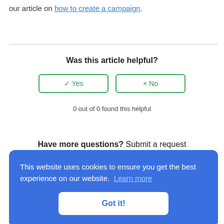our article on how to create a campaign.
Was this article helpful?
0 out of 0 found this helpful
Have more questions? Submit a request
This website uses cookies to ensure you get the best experience on our website. Learn more
Got it!